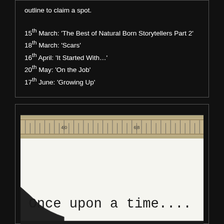outline to claim a spot.
15th March: 'The Best of Natural Born Storytellers Part 2'
18th March: 'Scars'
16th April: 'It Started With...'
20th May: 'On the Job'
17th June: 'Growing Up'
[Figure (photo): Close-up photo of a typewriter with a ruler/type guide visible, and paper showing the typed text 'Once upon a time....' in a classic typewriter font.]